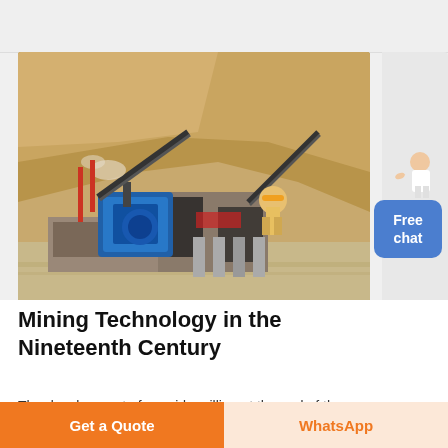[Figure (photo): Industrial mining facility with blue machinery, conveyor belts, and structures set against a rocky hillside. A worker in yellow hard hat is visible.]
Mining Technology in the Nineteenth Century
The development of cyanide milling at the end of the
Free chat
Get a Quote
WhatsApp